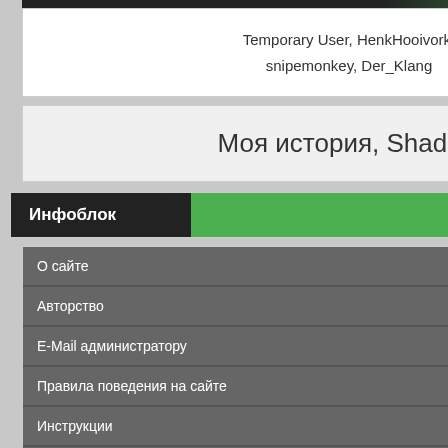Temporary User, HenkHooivork, snipemonkey, Der_Klang
Моя история, Shadow
Инфоблок
О сайте
Авторство
E-Mail администратору
Правила поведения на сайте
Инструкции
Lossless / Lossy
Статистика сайта
[Figure (photo): Dark teal/blue cyberpunk city background image with grid lines]
Названия альбома: М
Исполнители / Компо
Pritsker
Год выпуска альбома:
Год выхода фильма:
Жанр: Score